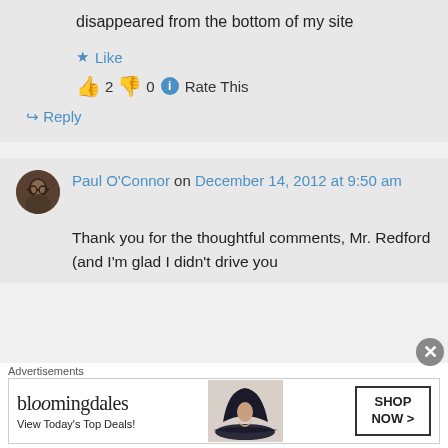disappeared from the bottom of my site
Like
👍 2 👎 0 ℹ Rate This
↪ Reply
Paul O'Connor on December 14, 2012 at 9:50 am
Thank you for the thoughtful comments, Mr. Redford (and I'm glad I didn't drive you
Advertisements
[Figure (screenshot): Bloomingdale's advertisement banner: 'View Today's Top Deals!' with woman in hat image and 'SHOP NOW >' button]